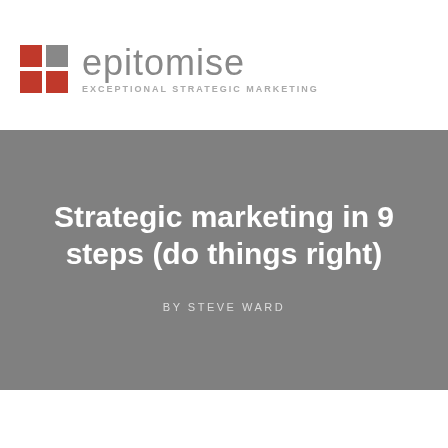[Figure (logo): Epitomise logo: a 2x2 grid of squares (two red, one dark gray, one light gray) followed by the word 'epitomise' in gray and the tagline 'EXCEPTIONAL STRATEGIC MARKETING']
Strategic marketing in 9 steps (do things right)
BY STEVE WARD